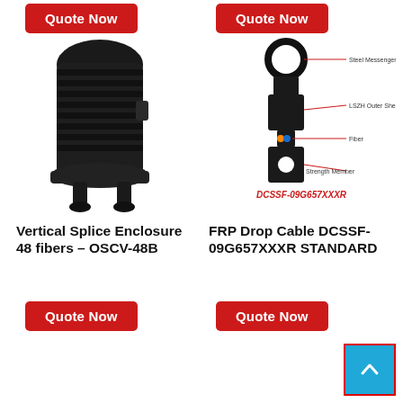[Figure (other): Red 'Quote Now' button top-left]
[Figure (other): Red 'Quote Now' button top-right]
[Figure (photo): Vertical Splice Enclosure 48 fibers OSCV-48B product photo, black cylindrical enclosure with ribbed body and mounting base]
[Figure (engineering-diagram): FRP Drop Cable DCSSF-09G657XXXR STANDARD diagram showing cross-section with labeled parts: Steel Messenger Wire, LSZH Outer Sheath, Fiber, Strength Member. Red text label DCSSF-09G657XXXR at bottom.]
Vertical Splice Enclosure 48 fibers – OSCV-48B
FRP Drop Cable DCSSF-09G657XXXR STANDARD
[Figure (other): Red 'Quote Now' button bottom-left]
[Figure (other): Red 'Quote Now' button bottom-right]
[Figure (other): Blue back-to-top button with upward chevron arrow, bottom right corner]